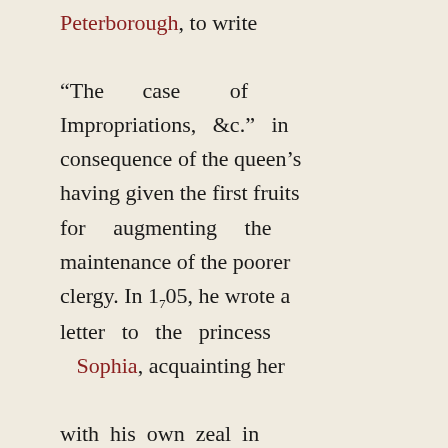Peterborough, to write “The case of Impropriations, &c.” in consequence of the queen’s having given the first fruits for augmenting the maintenance of the poorer clergy. In 1705, he wrote a letter to the princess Sophia, acquainting her with his own zeal in particular, and that of her friends, for the security of the Hanover succession, to which he received an